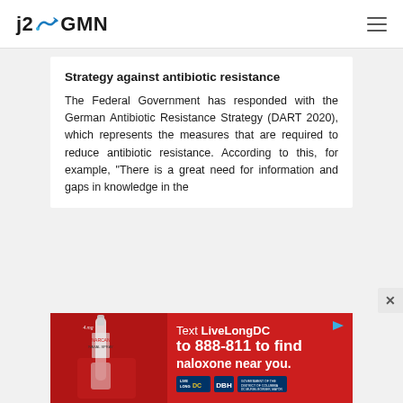j2GMN
Strategy against antibiotic resistance
The Federal Government has responded with the German Antibiotic Resistance Strategy (DART 2020), which represents the measures that are required to reduce antibiotic resistance. According to this, for example, "There is a great need for information and gaps in knowledge in the
[Figure (photo): Advertisement banner: Text LiveLongDC to 888-811 to find naloxone near you. Red background with image of nasal spray on left side and logos (LiveLong DC, DBH, DC Government) on bottom right.]